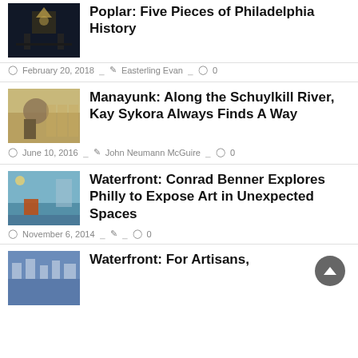[Figure (photo): Dark theater/church interior thumbnail]
Poplar: Five Pieces of Philadelphia History
February 20, 2018  Easterling Evan  0
[Figure (photo): Person in theater seats thumbnail]
Manayunk: Along the Schuylkill River, Kay Sykora Always Finds A Way
June 10, 2016  John Neumann McGuire  0
[Figure (photo): Waterfront scene thumbnail]
Waterfront: Conrad Benner Explores Philly to Expose Art in Unexpected Spaces
November 6, 2014  0
[Figure (photo): Crowd/group thumbnail]
Waterfront: For Artisans,